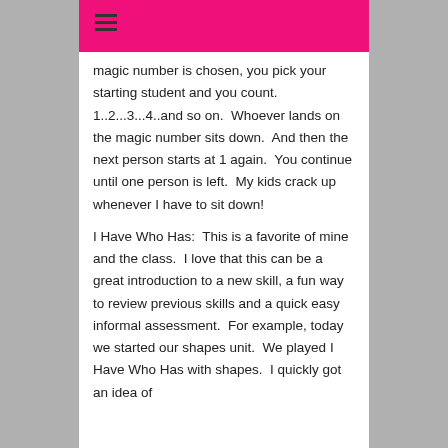☰ (hamburger menu icon)
magic number is chosen, you pick your starting student and you count.  1..2...3...4..and so on.  Whoever lands on the magic number sits down.  And then the next person starts at 1 again.  You continue until one person is left.  My kids crack up whenever I have to sit down!
I Have Who Has:  This is a favorite of mine and the class.  I love that this can be a great introduction to a new skill, a fun way to review previous skills and a quick easy informal assessment.  For example, today we started our shapes unit.  We played I Have Who Has with shapes.  I quickly got an idea of